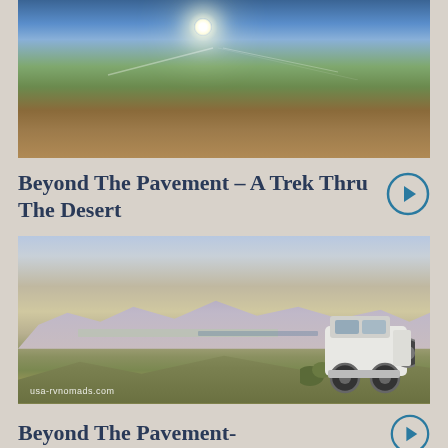[Figure (photo): Desert landscape with bright sun in blue sky, scrubby desert vegetation and brush in foreground, rocky terrain]
Beyond The Pavement – A Trek Thru The Desert
[Figure (photo): White Jeep Wrangler viewed from behind on a desert hilltop, overlooking a wide valley with mountains in background, watermark reads usa-rvnomads.com]
Beyond The Pavement-